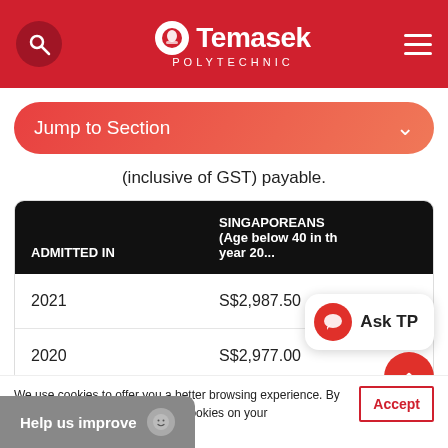Temasek Polytechnic
Jump to Section
(inclusive of GST) payable.
| ADMITTED IN | SINGAPOREANS (Age below 40 in the year 20...) |
| --- | --- |
| 2021 | S$2,987.50 |
| 2020 | S$2,977.00 |
We use cookies to offer you a better browsing experience. By ... to the use of cookies on your ... vacy statement.
Help us improve